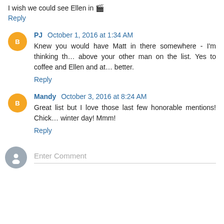I wish we could see Ellen in 🎬
Reply
PJ  October 1, 2016 at 1:34 AM
Knew you would have Matt in there somewhere - I'm thinking th… above your other man on the list. Yes to coffee and Ellen and at… better.
Reply
Mandy  October 3, 2016 at 8:24 AM
Great list but I love those last few honorable mentions! Chick… winter day! Mmm!
Reply
Enter Comment